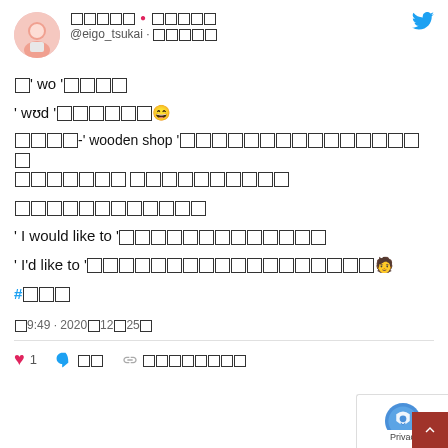@eigo_tsukai tweet header with username and avatar
□' wo '□□□□
' wʊd '□□□□□□😄
□□□□-' wooden shop '□□□□□□□□□□□□□□□□□□□□□□□ □□□□□□□□□□
□□□□□□□□□□□□
' I would like to '□□□□□□□□□□□□□
' I'd like to '□□□□□□□□□□□□□□□□□□□🧑
#□□□
午9:49 · 2020年12月25日
♥ 1  💬 返信  🔗 リンクをコピーする